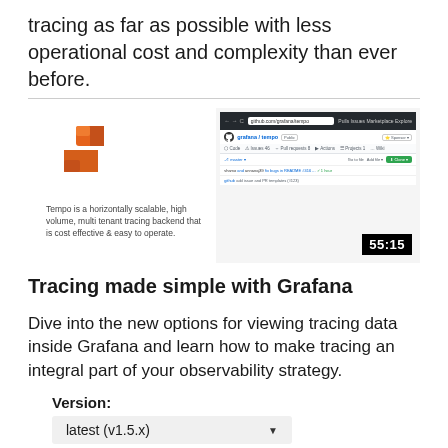tracing as far as possible with less operational cost and complexity than ever before.
[Figure (screenshot): Video thumbnail showing Grafana Tempo logo on left with description text and GitHub repository page on right, with a 55:15 timer badge in bottom-right corner.]
Tracing made simple with Grafana
Dive into the new options for viewing tracing data inside Grafana and learn how to make tracing an integral part of your observability strategy.
Version:
latest (v1.5.x)